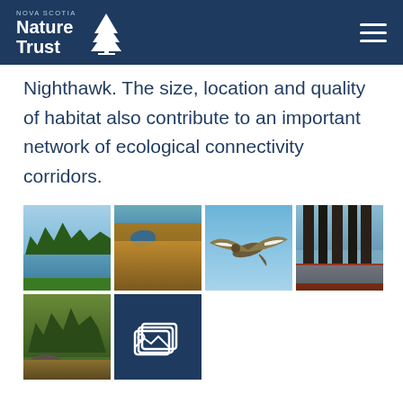Nova Scotia Nature Trust
Nighthawk. The size, location and quality of habitat also contribute to an important network of ecological connectivity corridors.
[Figure (photo): Grid of six nature photos: forest lake reflection, aerial wetland in autumn colours, nighthawk bird in flight against blue sky, fall trees by water, fall forest with rocks, and a photo gallery icon button on dark navy background.]